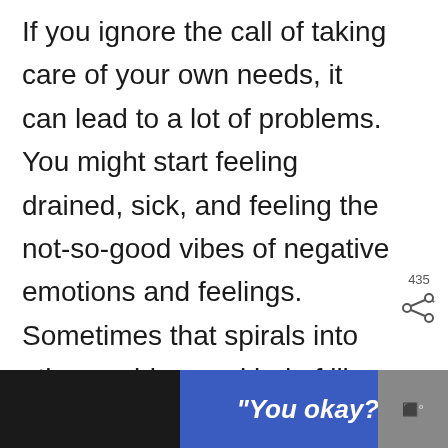If you ignore the call of taking care of your own needs, it can lead to a lot of problems. You might start feeling drained, sick, and feeling the not-so-good vibes of negative emotions and feelings. Sometimes that spirals into other problems – kind of like a domino effect.
[Figure (other): Teal circular heart/like button with white heart icon, showing count 435 below it, and a share icon button beneath that]
"You okay?"